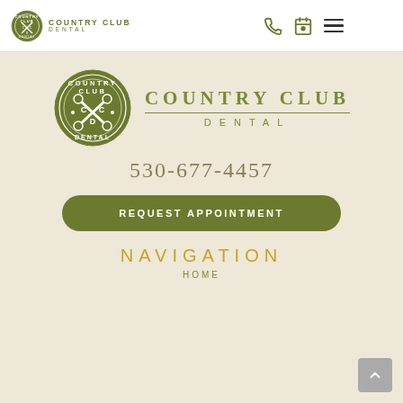[Figure (logo): Country Club Dental logo in header — circular green emblem with crossed dental instruments and text, with brand name 'Country Club Dental' to the right]
[Figure (logo): Phone icon in header navigation area]
[Figure (logo): Calendar/appointment icon in header navigation area]
[Figure (logo): Hamburger menu icon (three horizontal lines) in header]
[Figure (logo): Large Country Club Dental logo — circular green emblem with text 'Country Club Dental' alongside large brand name text]
530-677-4457
REQUEST APPOINTMENT
NAVIGATION
HOME